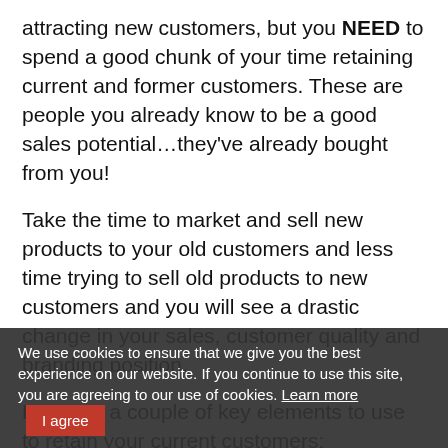attracting new customers, but you NEED to spend a good chunk of your time retaining current and former customers. These are people you already know to be a good sales potential…they've already bought from you!
Take the time to market and sell new products to your old customers and less time trying to sell old products to new customers and you will see a drastic change in your sales, customer quality and branding position.
Here are a couple of key elements to use to retain your current customers:
Stay in contact: This means by phone, email, e-newsletter, in person-by pigeon if you have too!
Post Purchase Assurance: This means you need to follow up with customers. You
We use cookies to ensure that we give you the best experience on our website. If you continue to use this site, you are agreeing to our use of cookies. Learn more  I agree